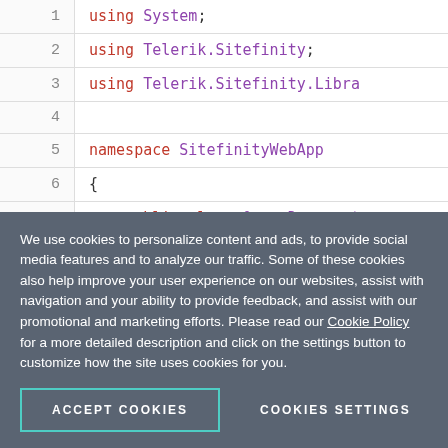[Figure (screenshot): Code editor screenshot showing C# code with line numbers 1-11. Lines include: using System;, using Telerik.Sitefinity;, using Telerik.Sitefinity.Libra(truncated), blank line, namespace SitefinityWebApp, {, public class QueryDocument(truncated), {, private Document GetDo(truncated), {, return App.WorkWit(truncated)]
We use cookies to personalize content and ads, to provide social media features and to analyze our traffic. Some of these cookies also help improve your user experience on our websites, assist with navigation and your ability to provide feedback, and assist with our promotional and marketing efforts. Please read our Cookie Policy for a more detailed description and click on the settings button to customize how the site uses cookies for you.
ACCEPT COOKIES
COOKIES SETTINGS